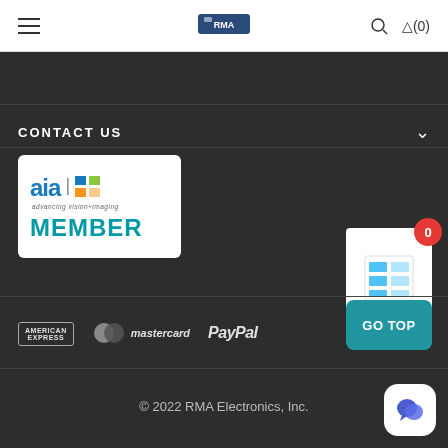RMA Electronics navigation header with hamburger menu, logo, search and cart (0)
CONTACT US
[Figure (logo): AIA advancing vision+imaging MEMBER badge, white card with blue/green/yellow grid logo]
[Figure (other): Compare widget showing table icon with red badge showing 0]
[Figure (logo): American Express payment logo]
[Figure (logo): Mastercard payment logo]
[Figure (logo): PayPal payment logo]
[Figure (other): GO TOP button, teal rounded rectangle]
© 2022 RMA Electronics, Inc.
[Figure (other): Chat support widget, white rounded square with blue speech bubble icon]